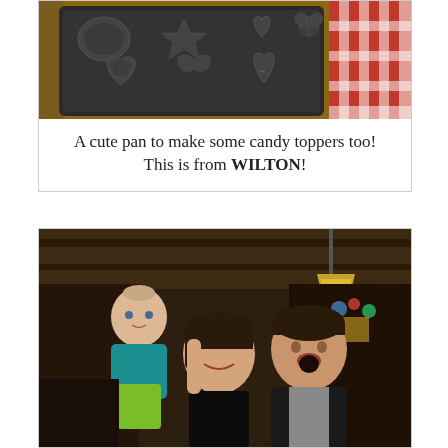[Figure (photo): A dark non-stick baking pan with various shaped cavities including hearts, a teddy bear, a pacifier, and other decorative shapes, placed on a red and white checkered cloth background.]
A cute pan to make some candy toppers too! This is from WILTON!
[Figure (photo): A woman holding a baby dressed in teal and green, sitting next to a man making a surprised expression, in a restaurant or bar setting.]